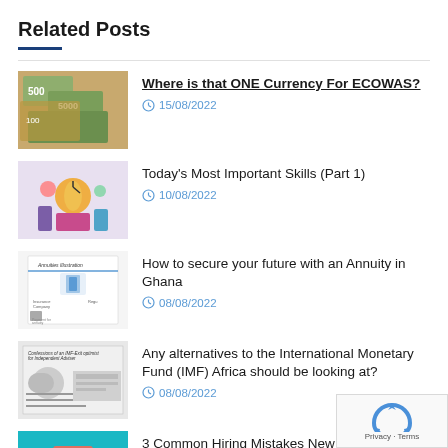Related Posts
Where is that ONE Currency For ECOWAS? | 15/08/2022
Today's Most Important Skills (Part 1) | 10/08/2022
How to secure your future with an Annuity in Ghana | 08/08/2022
Any alternatives to the International Monetary Fund (IMF) Africa should be looking at? | 08/08/2022
3 Common Hiring Mistakes New Managers Avoid | 01/08/2022